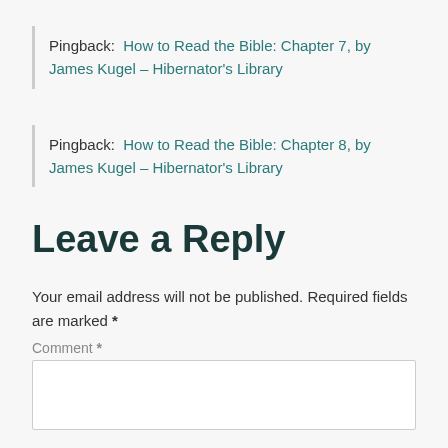Pingback: How to Read the Bible: Chapter 7, by James Kugel – Hibernator's Library
Pingback: How to Read the Bible: Chapter 8, by James Kugel – Hibernator's Library
Leave a Reply
Your email address will not be published. Required fields are marked *
Comment *